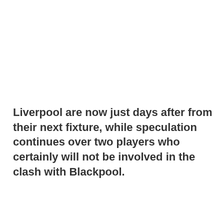Liverpool are now just days after from their next fixture, while speculation continues over two players who certainly will not be involved in the clash with Blackpool.